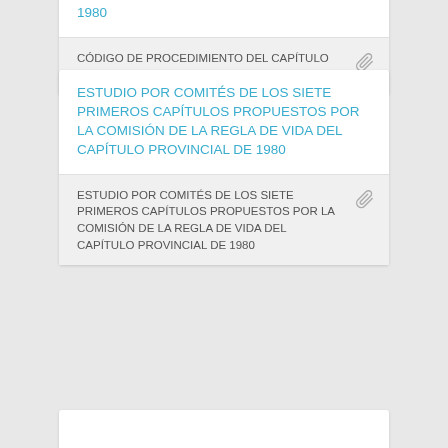1980
CÓDIGO DE PROCEDIMIENTO DEL CAPÍTULO PROVINCIAL DE 1980
ESTUDIO POR COMITÉS DE LOS SIETE PRIMEROS CAPÍTULOS PROPUESTOS POR LA COMISIÓN DE LA REGLA DE VIDA DEL CAPÍTULO PROVINCIAL DE 1980
ESTUDIO POR COMITÉS DE LOS SIETE PRIMEROS CAPÍTULOS PROPUESTOS POR LA COMISIÓN DE LA REGLA DE VIDA DEL CAPÍTULO PROVINCIAL DE 1980